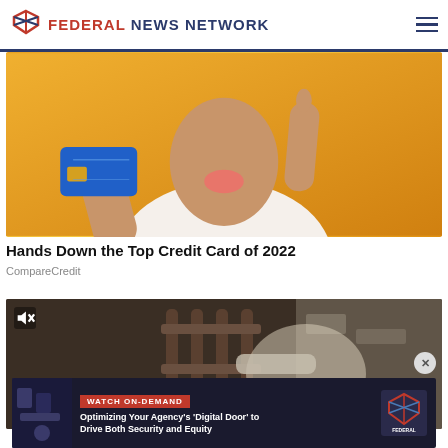FEDERAL NEWS NETWORK
[Figure (photo): Person holding a blue credit card up with one hand and pointing index finger upward with the other hand, against a yellow background, wearing a white shirt]
Hands Down the Top Credit Card of 2022
CompareCredit
[Figure (screenshot): Video thumbnail showing a dark interior scene with what appears to be prison bars or a gate, with a muted speaker icon in the top left corner]
[Figure (infographic): Advertisement banner: WATCH ON-DEMAND - Optimizing Your Agency's 'Digital Door' to Drive Both Security and Equity - Federal News Network logo]